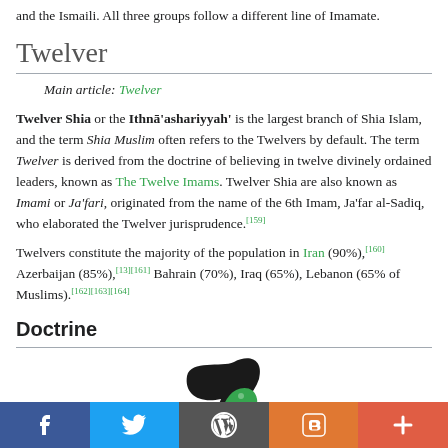and the Ismaili. All three groups follow a different line of Imamate.
Twelver
Main article: Twelver
Twelver Shia or the Ithnā'ashariyyah' is the largest branch of Shia Islam, and the term Shia Muslim often refers to the Twelvers by default. The term Twelver is derived from the doctrine of believing in twelve divinely ordained leaders, known as The Twelve Imams. Twelver Shia are also known as Imami or Ja'fari, originated from the name of the 6th Imam, Ja'far al-Sadiq, who elaborated the Twelver jurisprudence.[159]
Twelvers constitute the majority of the population in Iran (90%),[160] Azerbaijan (85%),[13][161] Bahrain (70%), Iraq (65%), Lebanon (65% of Muslims).[162][163][164]
Doctrine
[Figure (illustration): Partial view of an illustration/logo at the bottom of the page, showing a stylized bird/feather and leaf shape in black and green.]